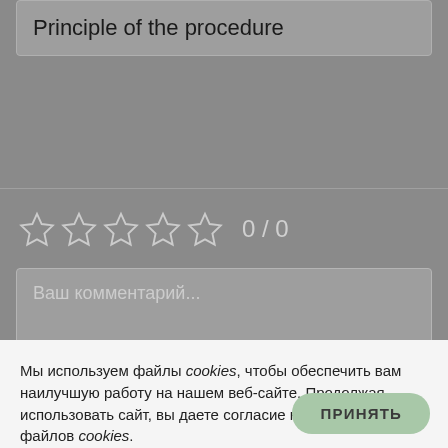Principle of the procedure
[Figure (other): Five empty star rating icons with '0 / 0' rating text]
Ваш комментарий...
Мы используем файлы cookies, чтобы обеспечить вам наилучшую работу на нашем веб-сайте. Продолжая использовать сайт, вы даете согласие на использование файлов cookies. Наша политика конфиденциальности для ознакомления.
ПРИНЯТЬ